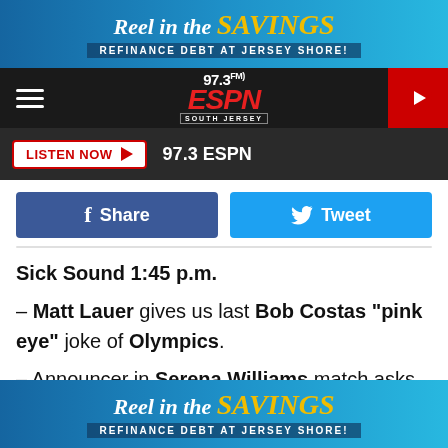[Figure (illustration): Advertisement banner: 'Reel in the SAVINGS - REFINANCE DEBT AT JERSEY SHORE!' with ocean/fish theme]
[Figure (logo): 97.3 FM ESPN South Jersey radio station logo in red and white on dark background, with hamburger menu and play button]
[Figure (infographic): Listen Now button with play arrow icon and '97.3 ESPN' text on dark bar]
[Figure (infographic): Facebook Share button (dark blue) and Twitter Tweet button (light blue)]
Sick Sound 1:45 p.m.
– Matt Lauer gives us last Bob Costas "pink eye" joke of Olympics.
– Announcer in Serena Williams match asks Jelena Jankovic to "shut up."
[Figure (illustration): Advertisement banner at bottom: 'Reel in the SAVINGS - REFINANCE DEBT AT JERSEY SHORE!']